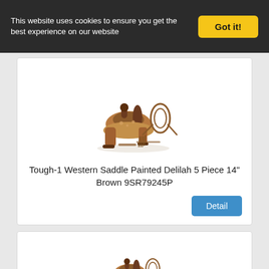This website uses cookies to ensure you get the best experience on our website
Got it!
[Figure (photo): Western saddle set with painted Delilah design, 5-piece set including saddle, headstall, and accessories, brown color]
Tough-1 Western Saddle Painted Delilah 5 Piece 14" Brown 9SR79245P
Detail
[Figure (photo): Western saddle set with painted Delilah design, 5-piece set including saddle, headstall, and accessories, brown color]
Tough-1 Western Saddle Painted Delilah 5 Piece 15" Brown 9SR79255P